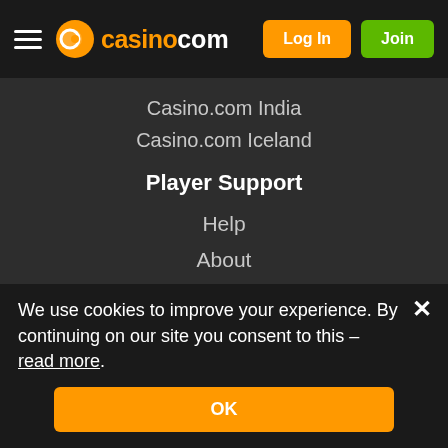casino.com — Log In | Join
Casino.com India
Casino.com Iceland
Player Support
Help
About
Contact Us
Security & Privacy
Responsible Gaming
Fair Gaming
Terms & Conditions
24/7 Support -
Email us at
We use cookies to improve your experience. By continuing on our site you consent to this – read more.